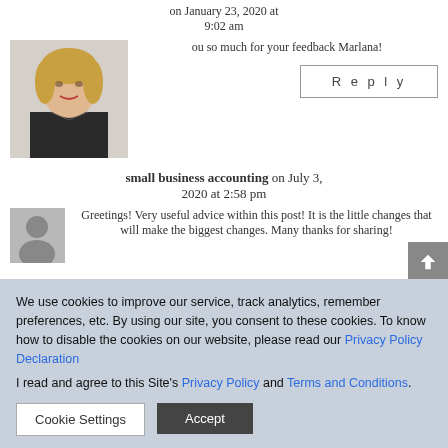on January 23, 2020 at 9:02 am
[Figure (photo): Portrait photo of a woman with blond hair wearing a black blazer, professional headshot]
ou so much for your feedback Marlana!
Reply
small business accounting on July 3, 2020 at 2:58 pm
[Figure (photo): Generic user avatar placeholder, grey silhouette]
Greetings! Very useful advice within this post! It is the little changes that will make the biggest changes. Many thanks for sharing!
We use cookies to improve our service, track analytics, remember preferences, etc. By using our site, you consent to these cookies. To know how to disable the cookies on our website, please read our Privacy Policy Declaration
I read and agree to this Site's Privacy Policy and Terms and Conditions.
Cookie Settings
Accept